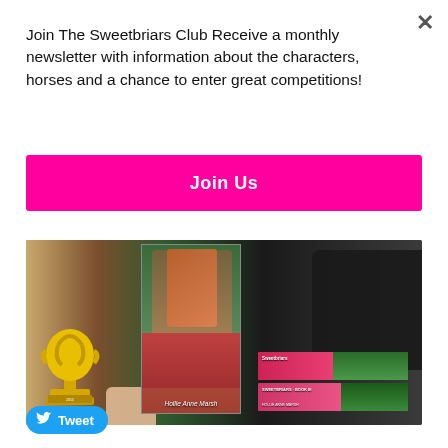× (close button)
Join The Sweetbriars Club Receive a monthly newsletter with information about the characters, horses and a chance to enter great competitions!
Join Us
[Figure (photo): Photo showing a horse trophy on the left, a book cover in the center featuring a girl with a horse titled by Hollie Anne Marsh, and stacked Sweetbriars books on the right, on a wooden table with a person's arm in dark clothing visible in the background.]
Tweet